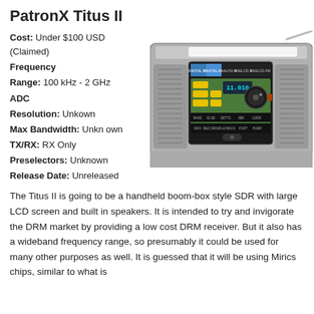PatronX Titus II
Cost: Under $100 USD (Claimed)
Frequency Range: 100 kHz - 2 GHz
ADC
Resolution: Unkown
Max Bandwidth: Unknown
TX/RX: RX Only
Preselectors: Unknown
Release Date: Unreleased
[Figure (photo): Photo of PatronX Titus II handheld boom-box style SDR radio with large LCD screen, built-in speakers, and antenna]
The Titus II is going to be a handheld boom-box style SDR with large LCD screen and built in speakers. It is intended to try and invigorate the DRM market by providing a low cost DRM receiver. But it also has a wideband frequency range, so presumably it could be used for many other purposes as well. It is guessed that it will be using Mirics chips, similar to what is